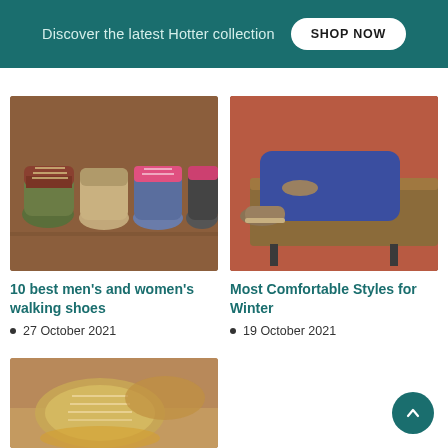Discover the latest Hotter collection SHOP NOW
[Figure (photo): Four walking shoes laid flat on a brown background: olive/red hiking boot, beige boot, pink/blue sneaker, dark grey/pink trainer]
10 best men's and women's walking shoes
27 October 2021
[Figure (photo): Person lying on a leather bench wearing blue trousers and brown comfortable slip-on shoes, against a terracotta/rust background]
Most Comfortable Styles for Winter
19 October 2021
[Figure (photo): Gold/metallic sneakers viewed from above on a tan background]